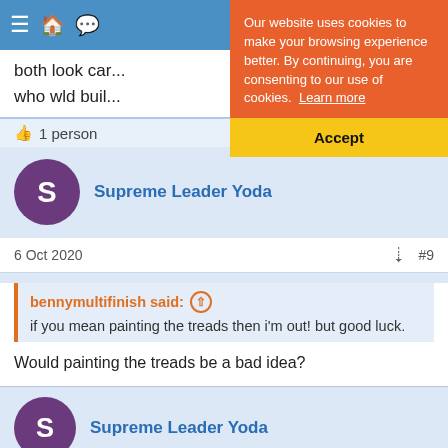Navigation bar with hamburger menu and icons
both look car... who wld buil...
1 person
[Figure (screenshot): Cookie consent banner with orange background reading: Our website uses cookies to make your browsing experience better. By continuing, you are consenting to our use of cookies. Learn more. Yellow Accept button below.]
Supreme Leader Yoda
6 Oct 2020
#9
bennymultifinish said:
if you mean painting the treads then i'm out! but good luck.
Would painting the treads be a bad idea?
Supreme Leader Yoda